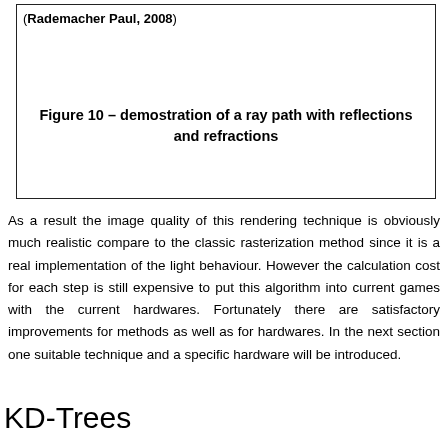[Figure (other): Figure box showing a ray path with reflections and refractions (Rademacher Paul, 2008)]
Figure 10 – demostration of a ray path with reflections and refractions
As a result the image quality of this rendering technique is obviously much realistic compare to the classic rasterization method since it is a real implementation of the light behaviour. However the calculation cost for each step is still expensive to put this algorithm into current games with the current hardwares. Fortunately there are satisfactory improvements for methods as well as for hardwares. In the next section one suitable technique and a specific hardware will be introduced.
KD-Trees